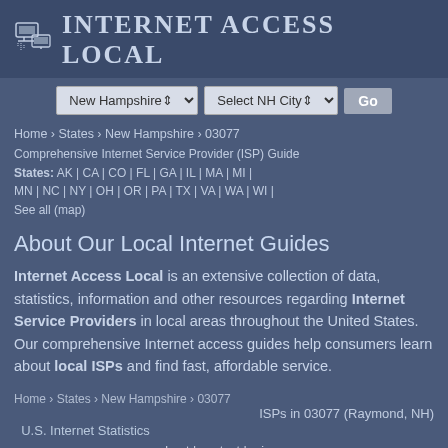Internet Access Local
New Hampshire | Select NH City | Go
Home › States › New Hampshire › 03077
States: AK | CA | CO | FL | GA | IL | MA | MI | MN | NC | NY | OH | OR | PA | TX | VA | WA | WI | See all (map)
Comprehensive Internet Service Provider (ISP) Guide
About Our Local Internet Guides
Internet Access Local is an extensive collection of data, statistics, information and other resources regarding Internet Service Providers in local areas throughout the United States. Our comprehensive Internet access guides help consumers learn about local ISPs and find fast, affordable service.
Home › States › New Hampshire › 03077
ISPs in 03077 (Raymond, NH)
U.S. Internet Statistics
about | contact | privacy
© Copyright 2022 Internet Access Local